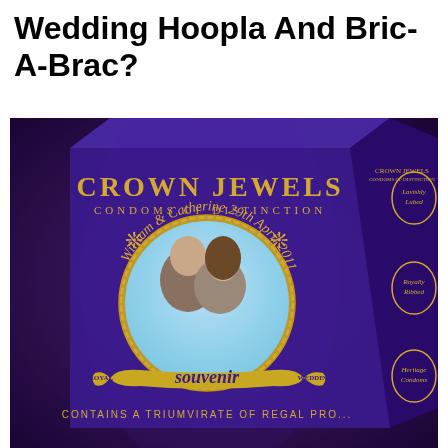Wedding Hoopla And Bric-A-Brac?
[Figure (photo): A purple box of 'Crown Jewels – Condoms of Distinction' Royal Wedding Souvenir, featuring a circular portrait of Prince William and Catherine Middleton, dated 29th April 2011. The box is decorated with gold text and ornamental designs. Text on box includes: CROWN JEWELS, CONDOMS OF DISTINCTION, William & Catherine 29th April 2011, ROYAL SOUVENIR WEDDING, CONTAINS A TRIUMVIRATE OF REGAL PROP... Side of box reads: Lavishly Lubed, Royally Ribbed, Heritage Condoms.]